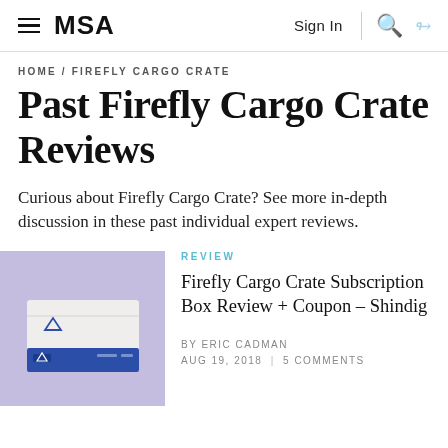MSA | Sign In | Search
HOME / FIREFLY CARGO CRATE
Past Firefly Cargo Crate Reviews
Curious about Firefly Cargo Crate? See more in-depth discussion in these past individual expert reviews.
REVIEW
[Figure (photo): A white cardboard subscription box with a blue bottom panel and a triangular logo, photographed on a light purple background.]
Firefly Cargo Crate Subscription Box Review + Coupon – Shindig
BY ERIC CADMAN
AUG 19, 2018 | 5 COMMENTS